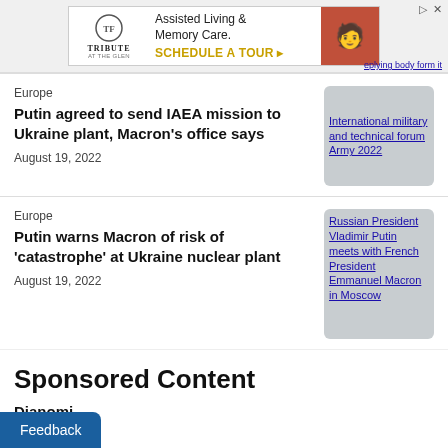[Figure (other): Advertisement banner for Tribute at The Glen - Assisted Living & Memory Care. Schedule a Tour.]
Europe
Putin agreed to send IAEA mission to Ukraine plant, Macron's office says
August 19, 2022
[Figure (photo): International military and technical forum Army 2022]
Europe
Putin warns Macron of risk of 'catastrophe' at Ukraine nuclear plant
August 19, 2022
[Figure (photo): Russian President Vladimir Putin meets with French President Emmanuel Macron in Moscow]
Sponsored Content
Dianomi